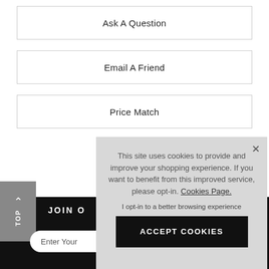Ask A Question
Email A Friend
Price Match
[Figure (screenshot): Back to top button (grey sidebar) and Facebook icon on left side of page]
This site uses cookies to provide and improve your shopping experience. If you want to benefit from this improved service, please opt-in. Cookies Page.
I opt-in to a better browsing experience
ACCEPT COOKIES
JOIN O
Enter Your